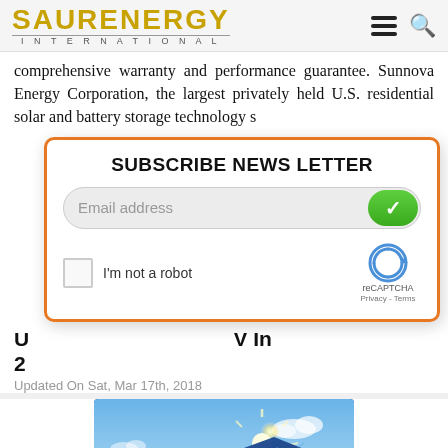SAUR ENERGY INTERNATIONAL
comprehensive warranty and performance guarantee. Sunnova Energy Corporation, the largest privately held U.S. residential solar and battery storage technology s
SUBSCRIBE NEWS LETTER
Email address
I'm not a robot
reCAPTCHA
Privacy - Terms
U... V In 2...
Updated On Sat, Mar 17th, 2018
[Figure (photo): Solar panels angled toward bright sunlight against a blue sky with clouds]